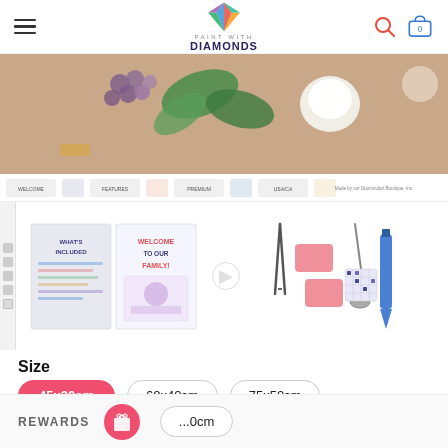Paint With Diamonds — navigation header with hamburger menu, logo, search and cart icons
[Figure (photo): Banner photo showing fruits, leaves and decorative items on a pink/mauve background]
[Figure (photo): Diamond painting instruction booklet / welcome card product thumbnail]
[Figure (photo): Diamond painting tools kit: tweezers, pink wax pads, roller tool, stylus pen]
Size
45x30cm (selected)
60x40cm
75x50cm
REWARDS
...0cm (partially visible)